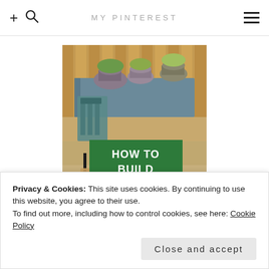+ 🔍  MY PINTEREST  ☰
[Figure (photo): Book cover for 'How To Build Garden Furniture' showing outdoor garden furniture including a blue table with potted plants on top and bistro chairs below, with a green overlay text block.]
Privacy & Cookies: This site uses cookies. By continuing to use this website, you agree to their use.
To find out more, including how to control cookies, see here: Cookie Policy
Close and accept